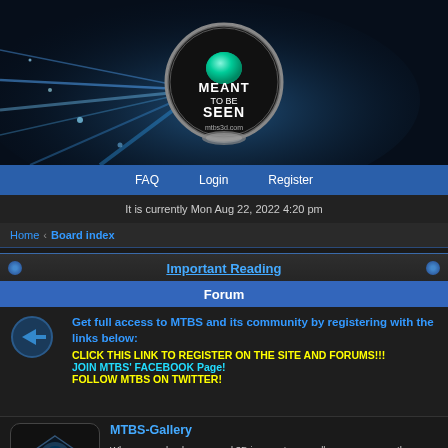[Figure (logo): Meant To Be Seen (MTBS) logo on dark blue space/light background, circular metallic logo with teal gem]
FAQ   Login   Register
It is currently Mon Aug 22, 2022 4:20 pm
Home ‹ Board index
Important Reading
Forum
Get full access to MTBS and its community by registering with the links below:
CLICK THIS LINK TO REGISTER ON THE SITE AND FORUMS!!!
JOIN MTBS' FACEBOOK Page!
FOLLOW MTBS ON TWITTER!
[Figure (logo): MTBS Gallery logo icon - dark rounded square with teal diamond/eye shape and 'GALLERY' text]
MTBS-Gallery
When you upload cross-eyed 3D images to our gallery, you can use the BBcode to make them viewable in native 3D in our discussion forums. Popular formats include AMD's HD3D, Nvidia 3D Vision, Oculus Rift, side by side, interlaced, anaglyph and more. Works with most leading web browsers on PC.
See 3D forum images in action!
Topics: 8